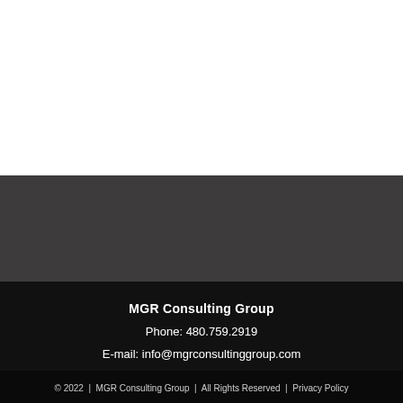Tweets by mgragency
MGR Consulting Group
Phone: 480.759.2919
E-mail: info@mgrconsultinggroup.com
© 2022  |  MGR Consulting Group  |  All Rights Reserved  |  Privacy Policy